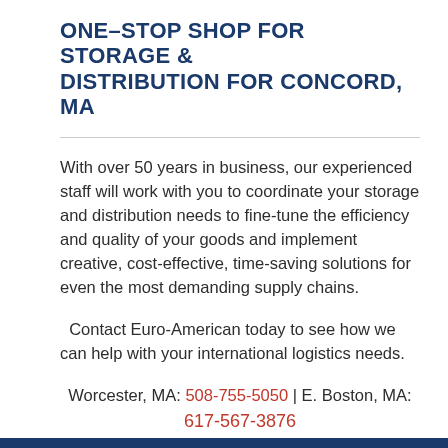ONE–STOP SHOP FOR STORAGE & DISTRIBUTION FOR CONCORD, MA
With over 50 years in business, our experienced staff will work with you to coordinate your storage and distribution needs to fine-tune the efficiency and quality of your goods and implement creative, cost-effective, time-saving solutions for even the most demanding supply chains.
Contact Euro-American today to see how we can help with your international logistics needs.
Worcester, MA: 508-755-5050 | E. Boston, MA: 617-567-3876